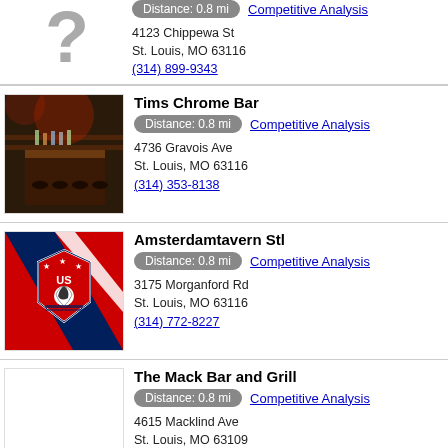Distance: 0.8 mi  Competitive Analysis
4123 Chippewa St
St. Louis, MO 63116
(314) 899-9343
Tims Chrome Bar
Distance: 0.8 mi  Competitive Analysis
4736 Gravois Ave
St. Louis, MO 63116
(314) 353-8138
Amsterdamtavern Stl
Distance: 0.8 mi  Competitive Analysis
3175 Morganford Rd
St. Louis, MO 63116
(314) 772-8227
The Mack Bar and Grill
Distance: 0.8 mi  Competitive Analysis
4615 Macklind Ave
St. Louis, MO 63109
(314) 832-8199